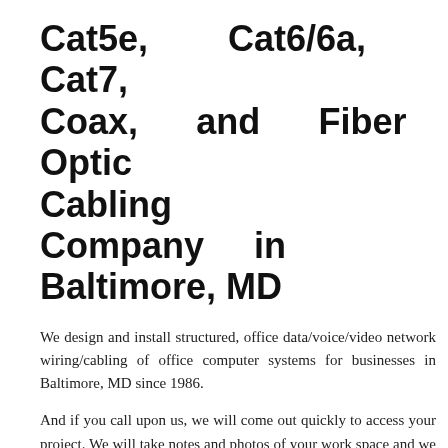Cat5e, Cat6/6a, Cat7, Coax, and Fiber Optic Cabling Company in Baltimore, MD
We design and install structured, office data/voice/video network wiring/cabling of office computer systems for businesses in Baltimore, MD since 1986.
And if you call upon us, we will come out quickly to access your project. We will take notes and photos of your work space and we will develop a Proposal that will give you a complete solution to all of your objectives at no charge.